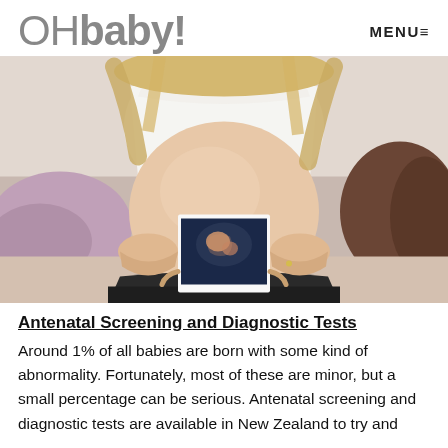OHbaby! MENU≡
[Figure (photo): Pregnant woman in white crop top and black pants sitting on a couch, holding an ultrasound photo against her bare pregnant belly.]
Antenatal Screening and Diagnostic Tests
Around 1% of all babies are born with some kind of abnormality. Fortunately, most of these are minor, but a small percentage can be serious. Antenatal screening and diagnostic tests are available in New Zealand to try and